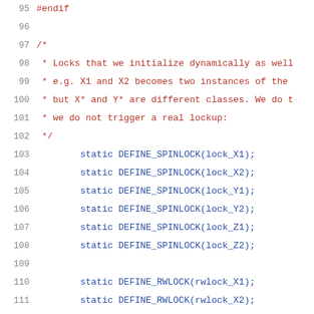95  #endif
96
97  /*
98   * Locks that we initialize dynamically as well
99   * e.g. X1 and X2 becomes two instances of the
100  * but X* and Y* are different classes. We do t
101  * we do not trigger a real lockup:
102  */
103  static DEFINE_SPINLOCK(lock_X1);
104  static DEFINE_SPINLOCK(lock_X2);
105  static DEFINE_SPINLOCK(lock_Y1);
106  static DEFINE_SPINLOCK(lock_Y2);
107  static DEFINE_SPINLOCK(lock_Z1);
108  static DEFINE_SPINLOCK(lock_Z2);
109
110  static DEFINE_RWLOCK(rwlock_X1);
111  static DEFINE_RWLOCK(rwlock_X2);
112  static DEFINE_RWLOCK(rwlock_Y1);
113  static DEFINE_RWLOCK(rwlock_Y2);
114  static DEFINE_RWLOCK(rwlock_Z1);
115  static DEFINE_RWLOCK(rwlock_Z2);
116